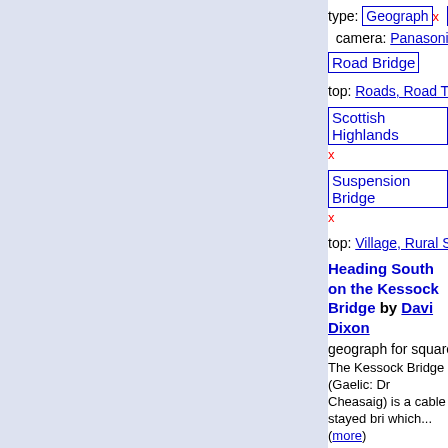[Figure (photo): Photograph of a road/bridge with guardrails and yellow foliage, top image]
type: Geograph x  Kessock
camera: Panasonic Lumix
Road Bridge
top: Roads, Road Transport
Scottish Highlands x
Suspension Bridge x
top: Village, Rural Settlement
Heading South on the Kessock Bridge by David Dixon
geograph for square NH6
The Kessock Bridge (Gaelic: Dr Cheasaig) is a cable stayed bri which... (more)
Tags: road: A9 x  Bridge x
type: Geograph x  Kessock
camera: Panasonic Lumix
[Figure (photo): Photograph of the Kessock Bridge from road level, showing cable-stayed bridge structure]
Road Bridge
top: Roads, Road Transport
Scottish Highlands x